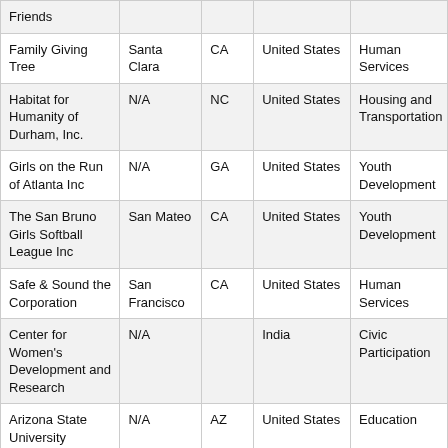| Friends |  |  |  |  |
| Family Giving Tree | Santa Clara | CA | United States | Human Services |
| Habitat for Humanity of Durham, Inc. | N/A | NC | United States | Housing and Transportation |
| Girls on the Run of Atlanta Inc | N/A | GA | United States | Youth Development |
| The San Bruno Girls Softball League Inc | San Mateo | CA | United States | Youth Development |
| Safe & Sound the Corporation | San Francisco | CA | United States | Human Services |
| Center for Women's Development and Research | N/A |  | India | Civic Participation |
| Arizona State University Foundation | N/A | AZ | United States | Education |